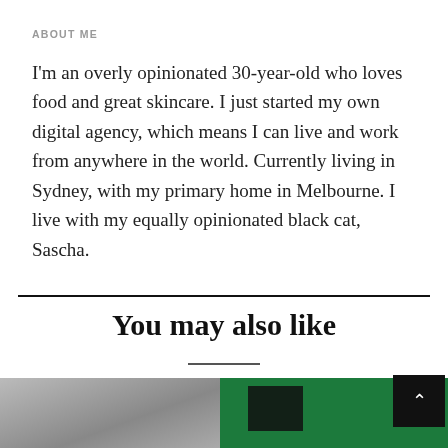ABOUT ME
I'm an overly opinionated 30-year-old who loves food and great skincare. I just started my own digital agency, which means I can live and work from anywhere in the world. Currently living in Sydney, with my primary home in Melbourne. I live with my equally opinionated black cat, Sascha.
You may also like
[Figure (photo): Black and white photo of a person (partially visible at bottom left)]
[Figure (photo): Photo with green background and dark rectangle overlay (partially visible at bottom right)]